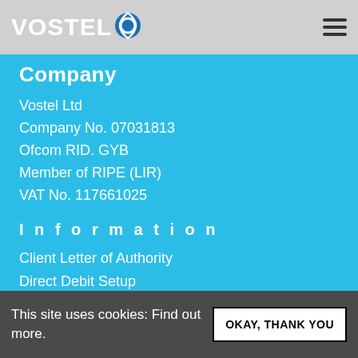VOSTEL
Company
Vostel Ltd
Company No. 07031813
Ofcom RID. GYB
Member of RIPE (LIR)
VAT No. 117661025
Information
Client Letter of Authority
Direct Debit Setup
Letter of Engagement
Privacy Policy
This site uses cookies: Find out more.
OKAY, THANK YOU